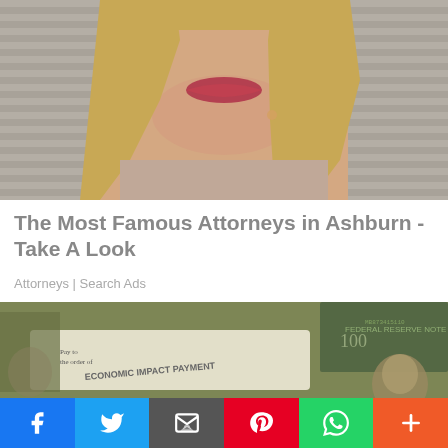[Figure (photo): Close-up photo of a woman with blonde hair and lipstick, partial face visible from nose down, against venetian blinds background]
The Most Famous Attorneys in Ashburn - Take A Look
Attorneys | Search Ads
[Figure (photo): Photo of US $100 bills and an Economic Impact Payment check spread on a surface]
[Figure (infographic): Social sharing bar with Facebook, Twitter, Email, Pinterest, WhatsApp, and More buttons]